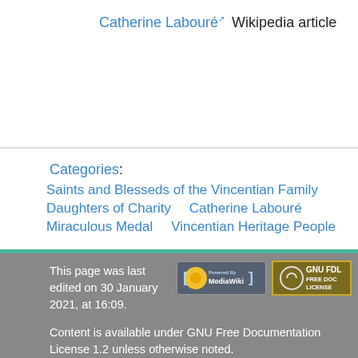Catherine Labouré Wikipedia article
Categories: Saints and Blesseds of the Vincentian Family   Daughters of Charity   Catherine Labouré   Miraculous Medal   Vincentian Heritage People
This page was last edited on 30 January 2021, at 16:09.

Content is available under GNU Free Documentation License 1.2 unless otherwise noted.

Privacy policy   About Vincentian Encyclopedia   Disclaimers